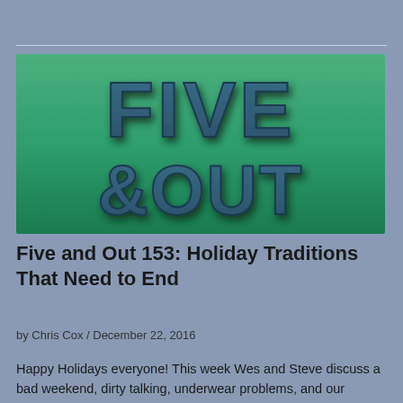[Figure (logo): Five and Out logo image with teal/green gradient background, bold text reading FIVE in large letters on top and &OUT below in a 3D embossed style]
Five and Out 153: Holiday Traditions That Need to End
by Chris Cox / December 22, 2016
Happy Holidays everyone! This week Wes and Steve discuss a bad weekend, dirty talking, underwear problems, and our